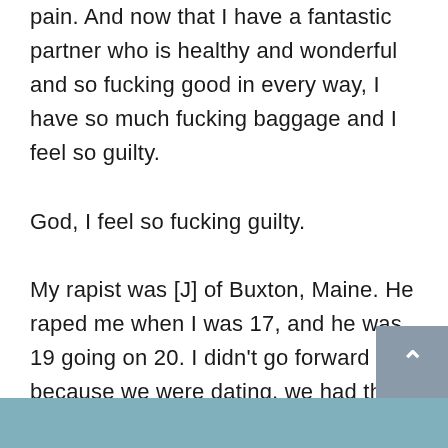pain. And now that I have a fantastic partner who is healthy and wonderful and so fucking good in every way, I have so much fucking baggage and I feel so guilty.

God, I feel so fucking guilty.

My rapist was [J] of Buxton, Maine. He raped me when I was 17, and he was 19 going on 20. I didn't go forward because we were dating, we had the same friend group, I thought I had caused it, I didn't think anyone would believe, I felt ashamed, I didn't want him to get in trouble, and because I didn't think anything would come of it since we were dating. Black out his name if you